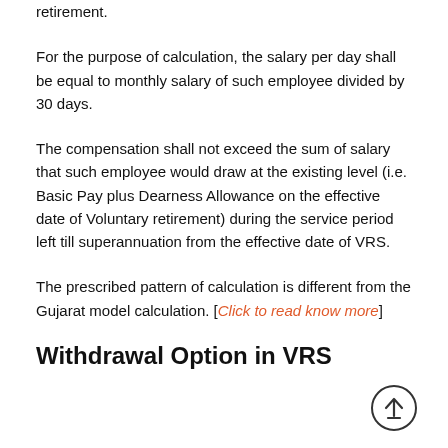retirement.
For the purpose of calculation, the salary per day shall be equal to monthly salary of such employee divided by 30 days.
The compensation shall not exceed the sum of salary that such employee would draw at the existing level (i.e. Basic Pay plus Dearness Allowance on the effective date of Voluntary retirement) during the service period left till superannuation from the effective date of VRS.
The prescribed pattern of calculation is different from the Gujarat model calculation. [Click to read know more]
Withdrawal Option in VRS